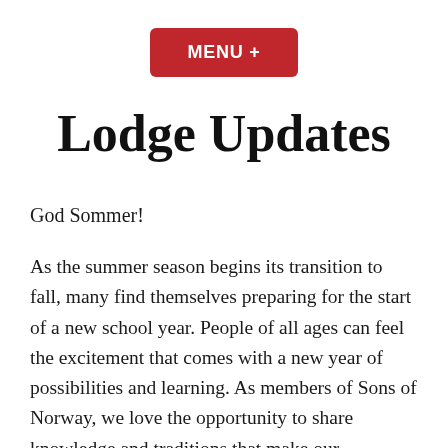[Figure (other): Red rounded rectangle button with white bold text reading 'MENU +']
Lodge Updates
God Sommer!
As the summer season begins its transition to fall, many find themselves preparing for the start of a new school year. People of all ages can feel the excitement that comes with a new year of possibilities and learning. As members of Sons of Norway, we love the opportunity to share knowledge and traditions that make our Norwegian heritage thrive. Below are links to online learning resources for Scandinavian and